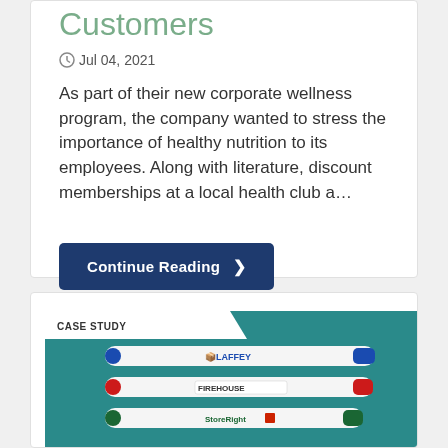Customers
Jul 04, 2021
As part of their new corporate wellness program, the company wanted to stress the importance of healthy nutrition to its employees. Along with literature, discount memberships at a local health club a…
Continue Reading ❯
[Figure (photo): Case study banner image showing three branded pens (Laffey, Firehouse, StoreRight) on a teal background]